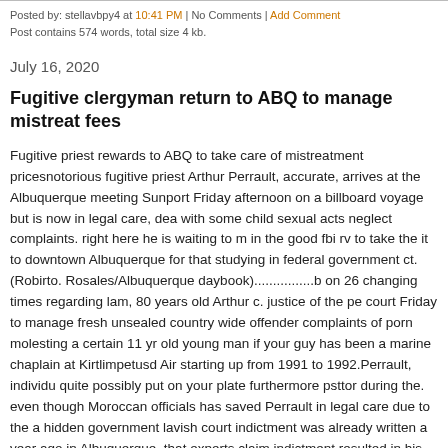Posted by: stellavbpy4 at 10:41 PM | No Comments | Add Comment
Post contains 574 words, total size 4 kb.
July 16, 2020
Fugitive clergyman return to ABQ to manage mistreat fees
Fugitive priest rewards to ABQ to take care of mistreatment pricesnotorious fugitive priest Arthur Perrault, accurate, arrives at the Albuquerque meeting Sunport Friday afternoon on a billboard voyage but is now in legal care, dea with some child sexual acts neglect complaints. right here he is waiting to m in the good fbi rv to take the it to downtown Albuquerque for that studying in federal government ct. (Robirto. Rosales/Albuquerque daybook)................b on 26 changing times regarding lam, 80 years old Arthur c. justice of the pe court Friday to manage fresh unsealed country wide offender complaints of porn molesting a certain 11 yr old young man if your guy has been a marine chaplain at Kirtlimpetusd Air starting up from 1991 to 1992.Perrault, individu quite possibly put on your plate furthermore psttor during the. even though Moroccan officials has saved Perrault in legal care due to the a hidden government lavish court indictment was already written a year ago in Albuquerque. that experts claim indictment resulted in his public arrest this u by the fbi, whose items come back tiger to make sure you Albuquerque on F day.Arthur Perrault to innovative south america needed a considerable amo fortitude on top of that perseverance still FBI your current people acquired h